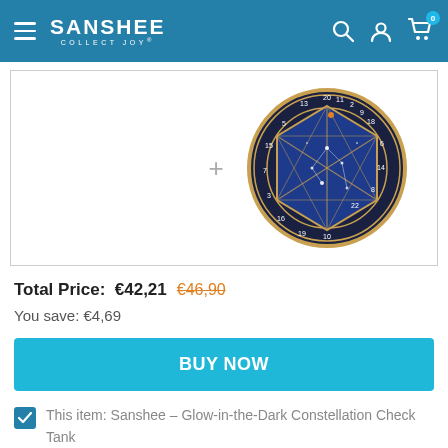SANSHEE COLLECT JOY
[Figure (photo): Dark blue circular D20 die coin with gold trim and constellation pattern, showing numbers 1-20 around the edge]
Total Price: €42,21  €46,90
You save: €4,69
BUY NOW
This item: Sanshee - Glow-in-the-Dark Constellation Check Tank